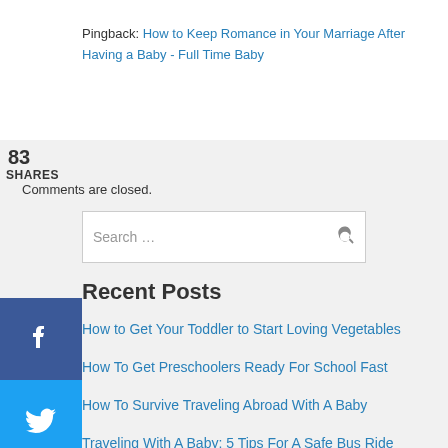Pingback: How to Keep Romance in Your Marriage After Having a Baby - Full Time Baby
83
SHARES
Comments are closed.
[Figure (infographic): Social media sharing sidebar buttons: Facebook (blue), Twitter (light blue), Pinterest (red), Email (green)]
Search …
Recent Posts
How to Get Your Toddler to Start Loving Vegetables
How To Get Preschoolers Ready For School Fast
How To Survive Traveling Abroad With A Baby
Traveling With A Baby: 5 Tips For A Safe Bus Ride